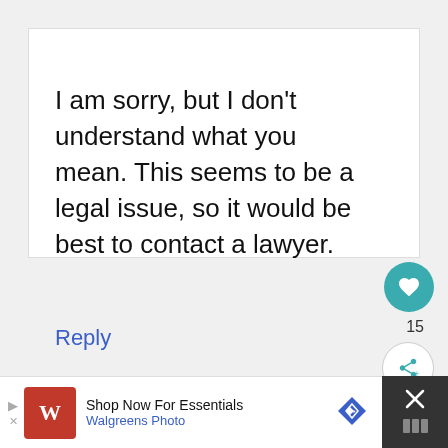I am sorry, but I don’t understand what you mean. This seems to be a legal issue, so it would be best to contact a lawyer.
Reply
Chad Ding Dong
August 3, 2021 at 8:15 am
[Figure (screenshot): Walgreens Photo advertisement banner at bottom of page reading 'Shop Now For Essentials, Walgreens Photo']